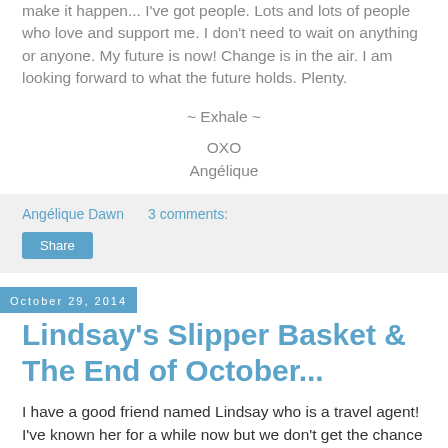make it happen... I've got people. Lots and lots of people who love and support me. I don't need to wait on anything or anyone. My future is now! Change is in the air. I am looking forward to what the future holds. Plenty.
~ Exhale ~
OXO
Angélique
Angélique Dawn    3 comments:
Share
October 29, 2014
Lindsay's Slipper Basket & The End of October...
I have a good friend named Lindsay who is a travel agent! I've known her for a while now but we don't get the chance to